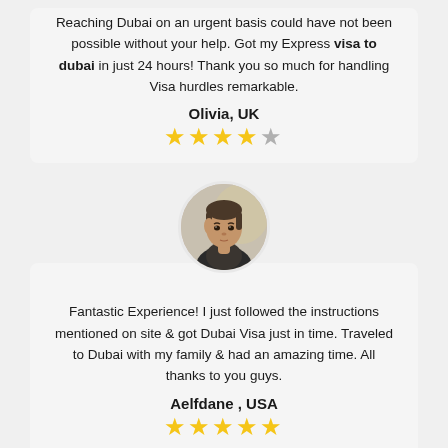Reaching Dubai on an urgent basis could have not been possible without your help. Got my Express visa to dubai in just 24 hours! Thank you so much for handling Visa hurdles remarkable.
Olivia, UK
[Figure (other): 4.5 out of 5 stars rating — four gold stars and one grey star]
[Figure (photo): Circular profile photo of a young man with short hair wearing a dark jacket, with blurred light background]
Fantastic Experience! I just followed the instructions mentioned on site & got Dubai Visa just in time. Traveled to Dubai with my family & had an amazing time. All thanks to you guys.
Aelfdane , USA
[Figure (other): 5 out of 5 stars rating — five gold stars]